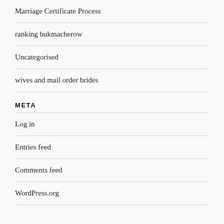Marriage Certificate Process
ranking bukmacherow
Uncategorised
wives and mail order brides
META
Log in
Entries feed
Comments feed
WordPress.org